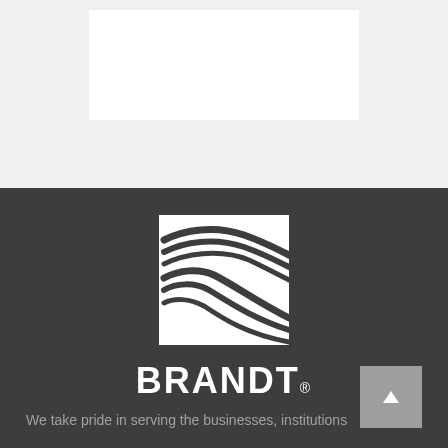[Figure (logo): Brandt company logo — white swooping lines/curves on dark background with square border, with BRANDT. text in bold white]
We take pride in serving the businesses, institutions